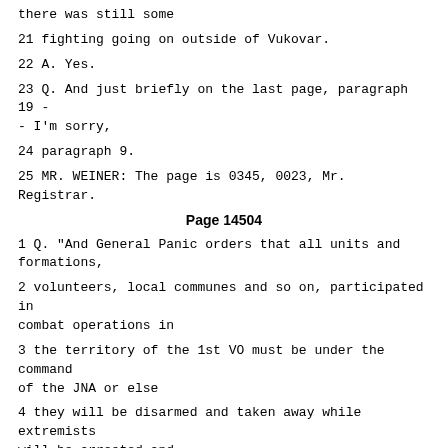there was still some
21 fighting going on outside of Vukovar.
22 A. Yes.
23 Q. And just briefly on the last page, paragraph 19 -- I'm sorry,
24 paragraph 9.
25 MR. WEINER: The page is 0345, 0023, Mr. Registrar.
Page 14504
1 Q. "And General Panic orders that all units and formations,
2 volunteers, local communes and so on, participated in combat operations in
3 the territory of the 1st VO must be under the command of the JNA or else
4 they will be disarmed and taken away while extremists will be arrested and
5 appropriate legal measures will be undertaken."
6 A. Yes.
7 Q. The JNA had a plan that all the local units were